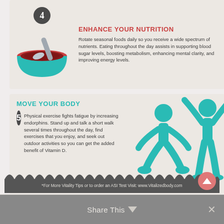[Figure (infographic): Step 4 card with teal bowl icon, dark numbered badge '4', and red heading 'ENHANCE YOUR NUTRITION' with descriptive text about rotating seasonal foods.]
Rotate seasonal foods daily so you receive a wide spectrum of nutrients. Eating throughout the day assists in supporting blood sugar levels, boosting metabolism, enhancing mental clarity, and improving energy levels.
[Figure (infographic): Step 5 card with teal exercise figure icons (squatting and arms-raised person), dark numbered badge '5', and teal heading 'MOVE YOUR BODY' with descriptive text about physical exercise.]
Physical exercise fights fatigue by increasing endorphins. Stand up and talk a short walk several times throughout the day, find exercises that you enjoy, and seek out outdoor activities so you can get the added benefit of Vitamin D.
*For More Vitality Tips or to order an ASI Test Visit: www.Vitalizedbody.com
Share This